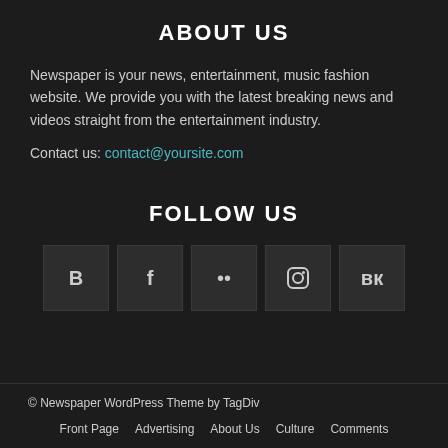ABOUT US
Newspaper is your news, entertainment, music fashion website. We provide you with the latest breaking news and videos straight from the entertainment industry.
Contact us: contact@yoursite.com
FOLLOW US
[Figure (other): Row of 5 social media icon buttons: Blogger, Facebook, Flickr, Instagram, VK]
© Newspaper WordPress Theme by TagDiv
Front Page   Advertising   About Us   Culture   Comments